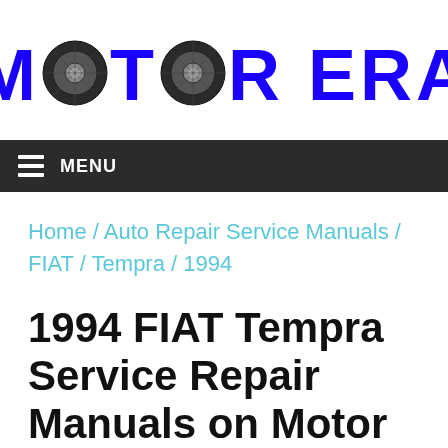[Figure (logo): Motor Era logo with two tire images replacing the O letters in MOTOR, text in bold blue on white background]
≡ MENU
Home / Auto Repair Service Manuals / FIAT / Tempra / 1994
1994 FIAT Tempra Service Repair Manuals on Motor